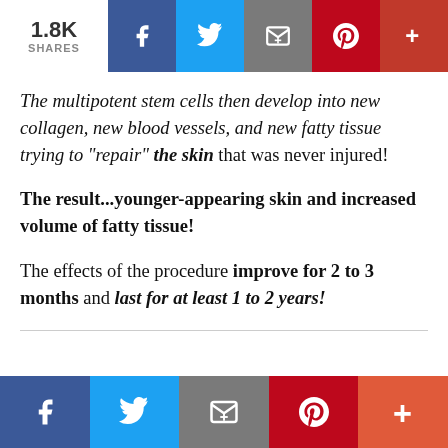1.8K SHARES | Facebook | Twitter | Email | Pinterest | More
The multipotent stem cells then develop into new collagen, new blood vessels, and new fatty tissue trying to "repair" the skin that was never injured!
The result...younger-appearing skin and increased volume of fatty tissue!
The effects of the procedure improve for 2 to 3 months and last for at least 1 to 2 years!
Facebook | Twitter | Email | Pinterest | More